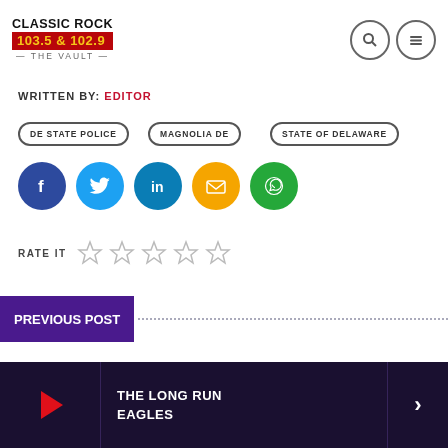[Figure (logo): Classic Rock 103.5 & 102.9 The Vault logo]
WRITTEN BY: EDITOR
DE STATE POLICE
MAGNOLIA DE
STATE OF DELAWARE
[Figure (infographic): Social share icons: Facebook, Twitter, LinkedIn, Email, WhatsApp]
RATE IT (5 empty stars)
PREVIOUS POST
THE LONG RUN
EAGLES